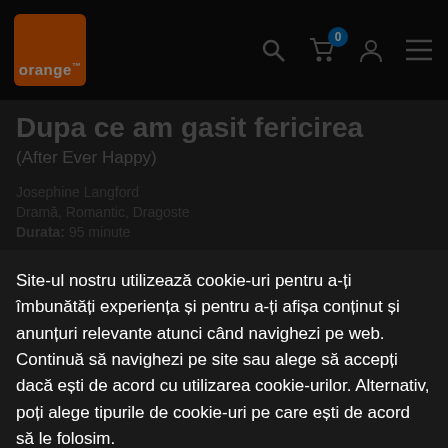[Figure (logo): Orange telecom logo — orange square with 'orange' text in white]
Dupa ce am gasit fericirea
(After Ever Happy)
Site-ul nostru utilizează cookie-uri pentru a-ți îmbunătăți experiența și pentru a-ți afișa conținut și anunțuri relevante atunci când navighezi pe web. Continuă să navighezi pe site sau alege să accepți dacă ești de acord cu utilizarea cookie-urilor. Alternativ, poți alege tipurile de cookie-uri pe care ești de acord să le folosim.
> Setează preferințele
Mai multe   X Resping toate
✓ Sunt de acord